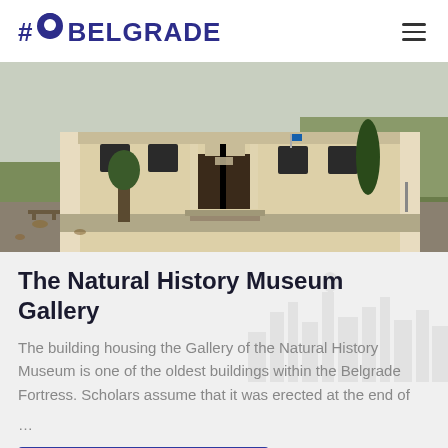#Go Belgrade
[Figure (photo): Exterior photo of the Natural History Museum Gallery building at Belgrade Fortress. A cream-colored neoclassical building with columns and dark windows, surrounded by green grass, trees, and a paved path.]
The Natural History Museum Gallery
The building housing the Gallery of the Natural History Museum is one of the oldest buildings within the Belgrade Fortress. Scholars assume that it was erected at the end of ...
Прочитајте детаљније